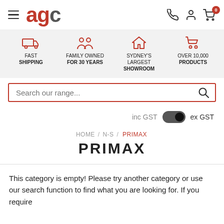[Figure (logo): AGC logo with hamburger menu icon on the left and phone, user, cart icons on the right]
[Figure (infographic): Four feature icons: Fast Shipping (truck), Family Owned For 30 Years (people), Sydney's Largest Showroom (house), Over 10,000 Products (cart)]
[Figure (screenshot): Search bar with red border, placeholder text 'Search our range...' and search icon]
inc GST  [toggle]  ex GST
HOME / N-S / PRIMAX
PRIMAX
This category is empty! Please try another category or use our search function to find what you are looking for. If you require